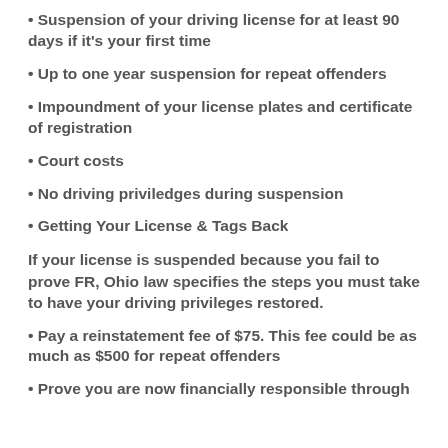• Suspension of your driving license for at least 90 days if it's your first time
• Up to one year suspension for repeat offenders
• Impoundment of your license plates and certificate of registration
• Court costs
• No driving priviledges during suspension
• Getting Your License & Tags Back
If your license is suspended because you fail to prove FR, Ohio law specifies the steps you must take to have your driving privileges restored.
• Pay a reinstatement fee of $75. This fee could be as much as $500 for repeat offenders
• Prove you are now financially responsible through